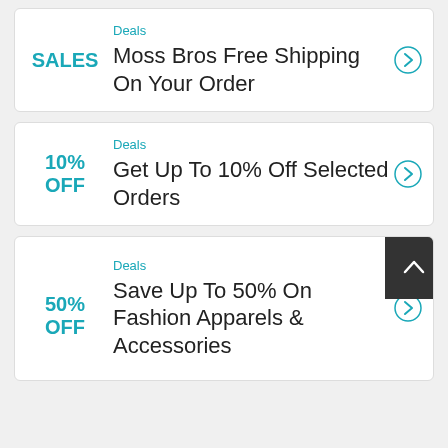Deals
Moss Bros Free Shipping On Your Order
SALES
Deals
Get Up To 10% Off Selected Orders
10% OFF
Deals
Save Up To 50% On Fashion Apparels & Accessories
50% OFF